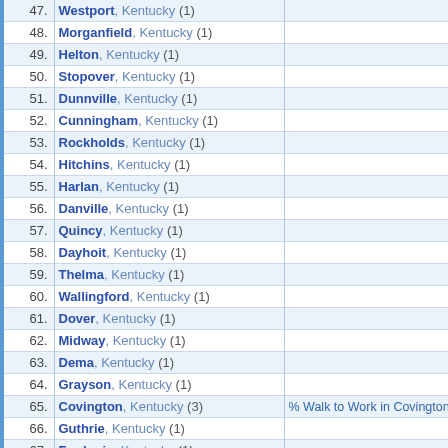| # | City | Data |
| --- | --- | --- |
| 47. | Westport, Kentucky (1) |  |
| 48. | Morganfield, Kentucky (1) |  |
| 49. | Helton, Kentucky (1) |  |
| 50. | Stopover, Kentucky (1) |  |
| 51. | Dunnville, Kentucky (1) |  |
| 52. | Cunningham, Kentucky (1) |  |
| 53. | Rockholds, Kentucky (1) |  |
| 54. | Hitchins, Kentucky (1) |  |
| 55. | Harlan, Kentucky (1) |  |
| 56. | Danville, Kentucky (1) |  |
| 57. | Quincy, Kentucky (1) |  |
| 58. | Dayhoit, Kentucky (1) |  |
| 59. | Thelma, Kentucky (1) |  |
| 60. | Wallingford, Kentucky (1) |  |
| 61. | Dover, Kentucky (1) |  |
| 62. | Midway, Kentucky (1) |  |
| 63. | Dema, Kentucky (1) |  |
| 64. | Grayson, Kentucky (1) |  |
| 65. | Covington, Kentucky (3) | % Walk to Work in Covington, KY |
| 66. | Guthrie, Kentucky (1) |  |
| 67. | Fredonia, Kentucky (1) |  |
| 68. | Buckhorn, Kentucky (1) |  |
| 69. | Keaton, Kentucky (1) |  |
| 70. | Williamsburg, Kentucky (1) |  |
| 71. | West Liberty, Kentucky (1) |  |
| 72. | Letcher, Kentucky (1) |  |
| 73. | Ravenna, Kentucky (1) |  |